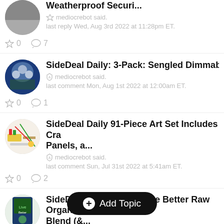Weatherproof Securi... mediocrebot said. last reply Wed, Aug 3rd 2022 at 11:28pm ET. ☆0 ○7
SideDeal Daily: 3-Pack: Sengled Dimmable Li... mediocrebot said. last comment Mon, Aug 1st 2022 at 12:00am ET. ☆0 ○1
SideDeal Daily 91-Piece Art Set Includes Cra... Panels, a... mediocrebot said. last comment Sun, Jul 31st 2022 at 5:41am ET. ☆0 ○2
SideDeal Daily 4-Pack Live Better Raw Organ... Blend (& ... mediocrebot said. last comment Sat, Jul 30th 2022 at 12:00am ET.
Add Topic